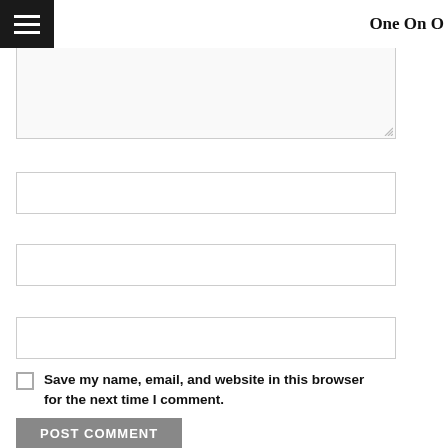One On O
[textarea field]
Name *
[name input field]
Email *
[email input field]
Website
[website input field]
Save my name, email, and website in this browser for the next time I comment.
POST COMMENT